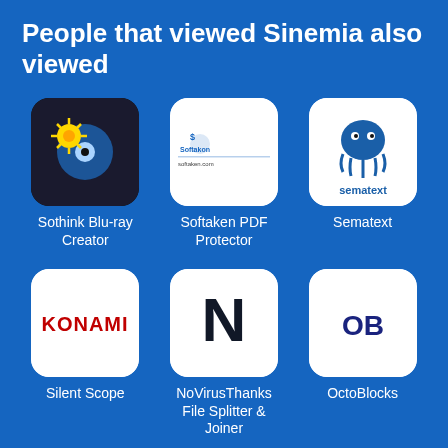People that viewed Sinemia also viewed
[Figure (illustration): App icon for Sothink Blu-ray Creator: rounded square with dark background showing a sun/star and blu-ray disc graphic]
Sothink Blu-ray Creator
[Figure (illustration): App icon for Softaken PDF Protector: white rounded square with Softaken logo text and dollar-sign emblem]
Softaken PDF Protector
[Figure (illustration): App icon for Sematext: white rounded square with blue octopus logo and text 'sematext']
Sematext
[Figure (illustration): App icon for Silent Scope: white rounded square with KONAMI text in red]
Silent Scope
[Figure (illustration): App icon for NoVirusThanks File Splitter & Joiner: white rounded square with bold N letter]
NoVirusThanks File Splitter & Joiner
[Figure (illustration): App icon for OctoBlocks: white rounded square with OB text in dark blue]
OctoBlocks
Related Categories
[Figure (illustration): Folder icon in white outline style]
Theatre Subscriptions
[Figure (illustration): Folder icon in white outline style]
Movie Subscriptions
[Figure (illustration): Folder icon in white outline style]
Movies